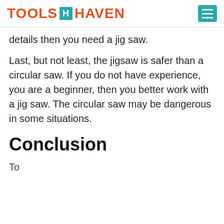TOOLS HAVEN
details then you need a jig saw.
Last, but not least, the jigsaw is safer than a circular saw. If you do not have experience, you are a beginner, then you better work with a jig saw. The circular saw may be dangerous in some situations.
Conclusion
To…